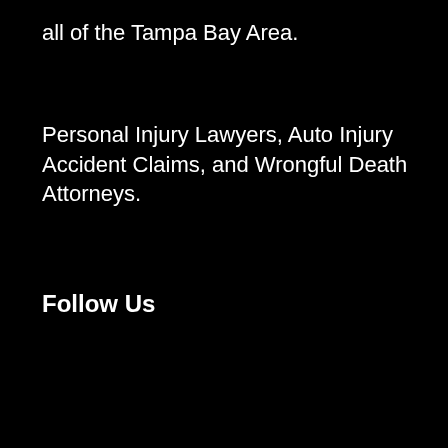all of the Tampa Bay Area.
Personal Injury Lawyers, Auto Injury Accident Claims, and Wrongful Death Attorneys.
Follow Us